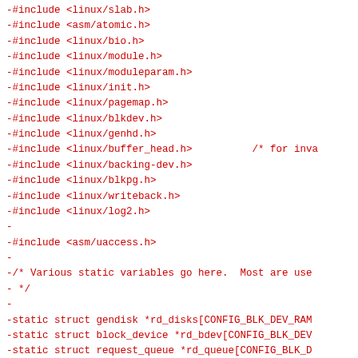-#include <linux/slab.h>
-#include <asm/atomic.h>
-#include <linux/bio.h>
-#include <linux/module.h>
-#include <linux/moduleparam.h>
-#include <linux/init.h>
-#include <linux/pagemap.h>
-#include <linux/blkdev.h>
-#include <linux/genhd.h>
-#include <linux/buffer_head.h>          /* for inva
-#include <linux/backing-dev.h>
-#include <linux/blkpg.h>
-#include <linux/writeback.h>
-#include <linux/log2.h>
-
-#include <asm/uaccess.h>
-
-/* Various static variables go here.  Most are use
- */
-
-static struct gendisk *rd_disks[CONFIG_BLK_DEV_RAM
-static struct block_device *rd_bdev[CONFIG_BLK_DEV
-static struct request_queue *rd_queue[CONFIG_BLK_D
-
-/*
- * Parameters for the boot-loading of the RAM disk
- * init/main.c (from arguments to the kernel comma
- * architecture-specific setup routine (from the s
- * information).
- */